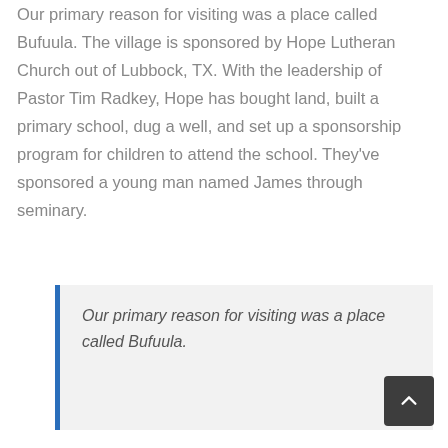Our primary reason for visiting was a place called Bufuula. The village is sponsored by Hope Lutheran Church out of Lubbock, TX. With the leadership of Pastor Tim Radkey, Hope has bought land, built a primary school, dug a well, and set up a sponsorship program for children to attend the school. They've sponsored a young man named James through seminary.
Our primary reason for visiting was a place called Bufuula.